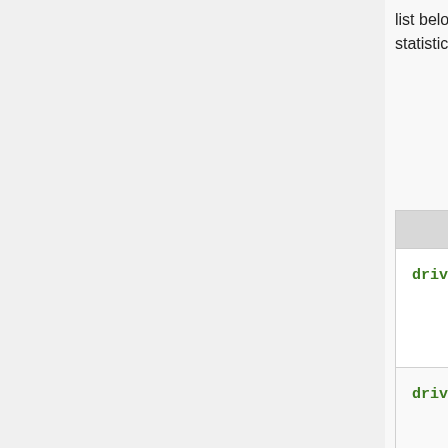list below contains all available counters across all RouterBoard devices. Most of the Ethernet statistics can be remotely monitored using SNMP and MIKROTIK-MIB.
| Property | Descript… |
| --- | --- |
| driver-rx-byte (integer) | Total cou… received b… on device CPU |
| driver-rx-packet (integer) | Total cou… received packets o… device CP… |
| driver-tx-byte (integer) | Total cou… transmitte… bytes by device C… |
| driver-tx-packet (integer) | Total cou… transmitte… |